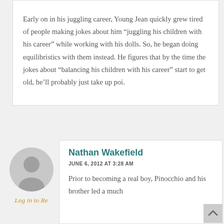Early on in his juggling career, Young Jean quickly grew tired of people making jokes about him “juggling his children with his career” while working with his dolls. So, he began doing equilibristics with them instead. He figures that by the time the jokes about “balancing his children with his career” start to get old, he’ll probably just take up poi.
Nathan Wakefield
JUNE 6, 2012 AT 3:28 AM
Log in to Re
Prior to becoming a real boy, Pinocchio and his brother led a much